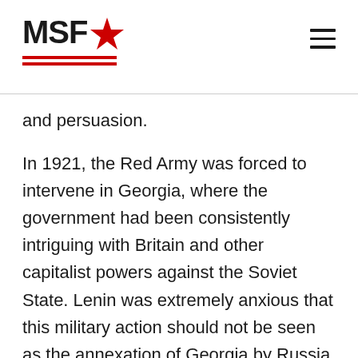MSF
and persuasion.
In 1921, the Red Army was forced to intervene in Georgia, where the government had been consistently intriguing with Britain and other capitalist powers against the Soviet State. Lenin was extremely anxious that this military action should not be seen as the annexation of Georgia by Russia, thus identifying the Soviet state with the Tsarist oppressors. He wrote letter after letter instructing the